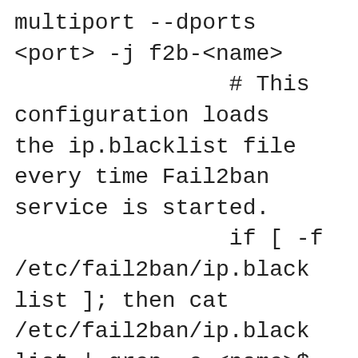multiport --dports <port> -j f2b-<name>
                # This configuration loads the ip.blacklist file every time Fail2ban service is started.
                if [ -f /etc/fail2ban/ip.blacklist ]; then cat /etc/fail2ban/ip.blacklist | grep -e <name>$ | cut -d "," -s -f 1 | while read IP; do